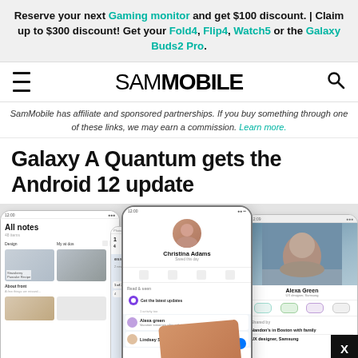Reserve your next Gaming monitor and get $100 discount. | Claim up to $300 discount! Get your Fold4, Flip4, Watch5 or the Galaxy Buds2 Pro.
SamMobile
SamMobile has affiliate and sponsored partnerships. If you buy something through one of these links, we may earn a commission. Learn more.
Galaxy A Quantum gets the Android 12 update
[Figure (photo): Three Samsung smartphone screens showing One UI: left screen displays All notes app, center screen shows a phone contact (Christina Adams) with messages, right screen shows a contact photo (Alexa Green). A hand holds the center phone.]